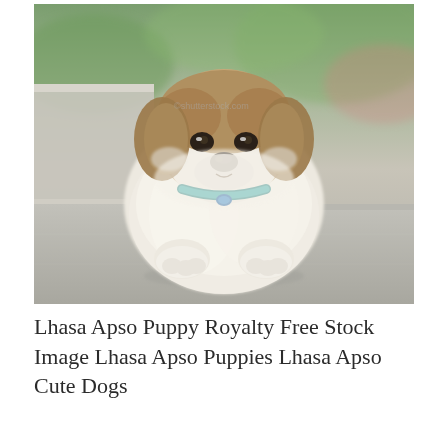[Figure (photo): A small white and brown Lhasa Apso puppy sitting on a concrete surface, wearing a teal/blue collar, looking at the camera. Background is blurred with greenery visible. The puppy has fluffy white fur with darker markings on the head.]
Lhasa Apso Puppy Royalty Free Stock Image Lhasa Apso Puppies Lhasa Apso Cute Dogs